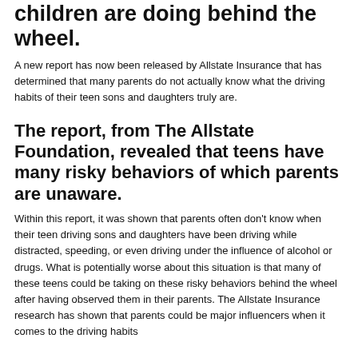children are doing behind the wheel.
A new report has now been released by Allstate Insurance that has determined that many parents do not actually know what the driving habits of their teen sons and daughters truly are.
The report, from The Allstate Foundation, revealed that teens have many risky behaviors of which parents are unaware.
Within this report, it was shown that parents often don't know when their teen driving sons and daughters have been driving while distracted, speeding, or even driving under the influence of alcohol or drugs. What is potentially worse about this situation is that many of these teens could be taking on these risky behaviors behind the wheel after having observed them in their parents. The Allstate Insurance research has shown that parents could be major influencers when it comes to the driving habits